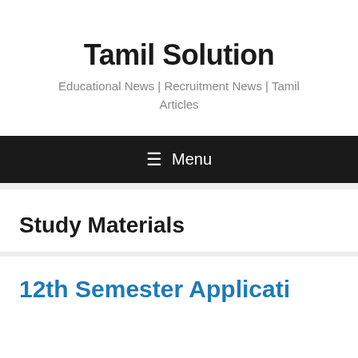Tamil Solution
Educational News | Recruitment News | Tamil Articles
☰ Menu
Study Materials
12th Semester Applicati…